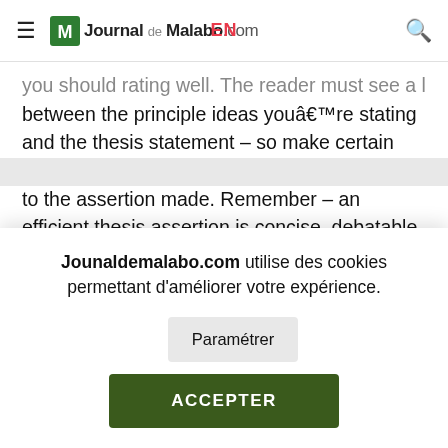Journal de Malabo.com  EN
you should rating well. The reader must see a logical connection between the principle ideas you're stating and the thesis statement – so make certain you're able to correlate each of them back to the assertion made. Remember – an efficient thesis assertion is concise, debatable and supportable.
Jounaldemalabo.com utilise des cookies permettant d'améliorer votre expérience.
Paramétrer
ACCEPTER